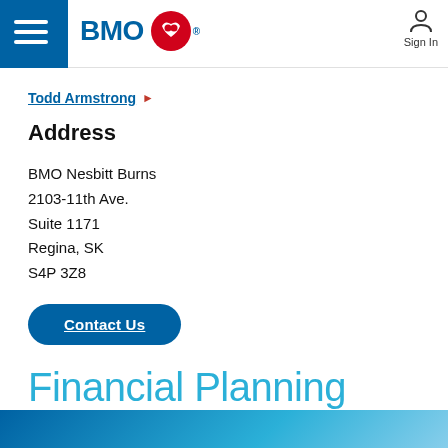BMO — Sign In
Todd Armstrong ▶
Address
BMO Nesbitt Burns
2103-11th Ave.
Suite 1171
Regina, SK
S4P 3Z8
Contact Us
Financial Planning
[Figure (photo): Blue banner/photo strip at bottom of page]